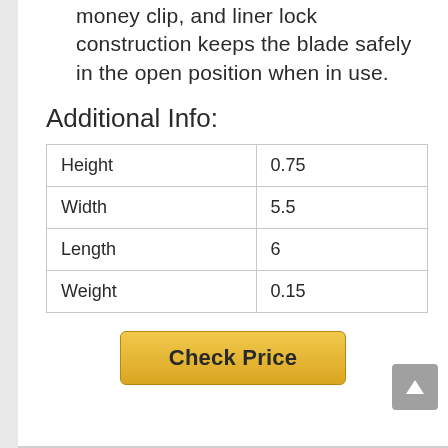money clip, and liner lock construction keeps the blade safely in the open position when in use.
Additional Info:
| Height | 0.75 |
| Width | 5.5 |
| Length | 6 |
| Weight | 0.15 |